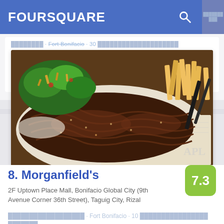FOURSQUARE
████████ · Fort Bonifacio · 30 ████████████████████
[Figure (photo): Food photo showing grilled ribs with salad and french fries on a plate]
8. Morganfield's
7.3
2F Uptown Place Mall, Bonifacio Global City (9th Avenue Corner 36th Street), Taguig City, Rizal
██████████████████ · Fort Bonifacio · 10 ████████████████ ███████